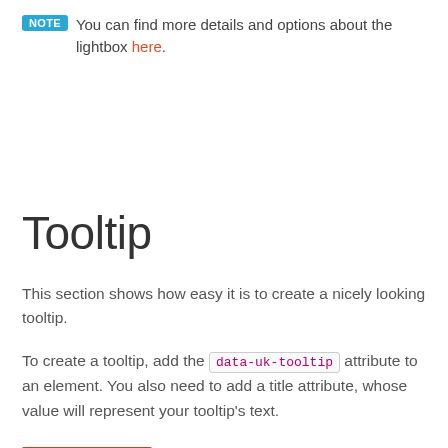NOTE You can find more details and options about the lightbox here.
Tooltip
This section shows how easy it is to create a nicely looking tooltip.
To create a tooltip, add the data-uk-tooltip attribute to an element. You also need to add a title attribute, whose value will represent your tooltip's text.
Hover me   Hover me